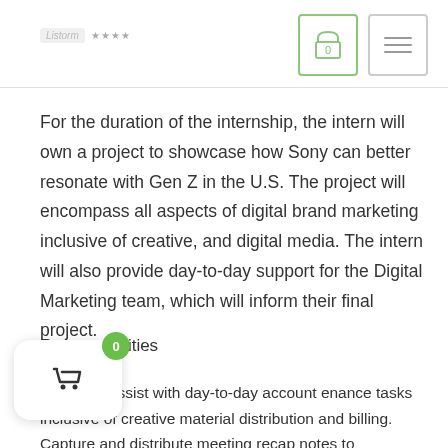Logo ★★★★ [cart icon] [menu icon]
For the duration of the internship, the intern will own a project to showcase how Sony can better resonate with Gen Z in the U.S. The project will encompass all aspects of digital brand marketing inclusive of creative, and digital media. The intern will also provide day-to-day support for the Digital Marketing team, which will inform their final project.
Responsibilities
enance – Assist with day-to-day account enance tasks inclusive of creative material distribution and billing. Capture and distribute meeting recap notes to